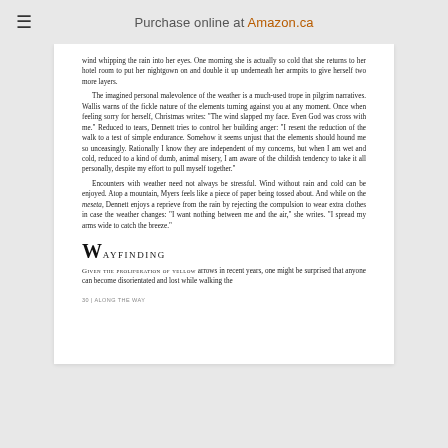Purchase online at Amazon.ca
wind whipping the rain into her eyes. One morning she is actually so cold that she returns to her hotel room to put her nightgown on and double it up underneath her armpits to give herself two more layers.

The imagined personal malevolence of the weather is a much-used trope in pilgrim narratives. Wallis warns of the fickle nature of the elements turning against you at any moment. Once when feeling sorry for herself, Christmas writes: "The wind slapped my face. Even God was cross with me." Reduced to tears, Dennett tries to control her building anger: "I resent the reduction of the walk to a test of simple endurance. Somehow it seems unjust that the elements should hound me so unceasingly. Rationally I know they are independent of my concerns, but when I am wet and cold, reduced to a kind of dumb, animal misery, I am aware of the childish tendency to take it all personally, despite my effort to pull myself together."

Encounters with weather need not always be stressful. Wind without rain and cold can be enjoyed. Atop a mountain, Myers feels like a piece of paper being tossed about. And while on the meseta, Dennett enjoys a reprieve from the rain by rejecting the compulsion to wear extra clothes in case the weather changes: "I want nothing between me and the air," she writes. "I spread my arms wide to catch the breeze."
Wayfinding
Given the proliferation of yellow arrows in recent years, one might be surprised that anyone can become disorientated and lost while walking the
30 | ALONG THE WAY